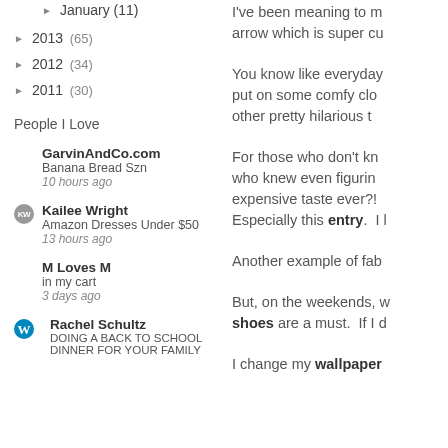► January (11)
► 2013 (65)
► 2012 (34)
► 2011 (30)
People I Love
GarvinAndCo.com
Banana Bread Szn
10 hours ago
KW Kailee Wright
Amazon Dresses Under $50
13 hours ago
M Loves M
in my cart
3 days ago
Rachel Schultz
DOING A BACK TO SCHOOL DINNER FOR YOUR FAMILY
I've been meaning to m arrow which is super cu
You know like everyday put on some comfy clo other pretty hilarious t
For those who don't kn who knew even figurin expensive taste ever?! Especially this entry. I l
Another example of fab
But, on the weekends, w shoes are a must. If I d
I change my wallpaper